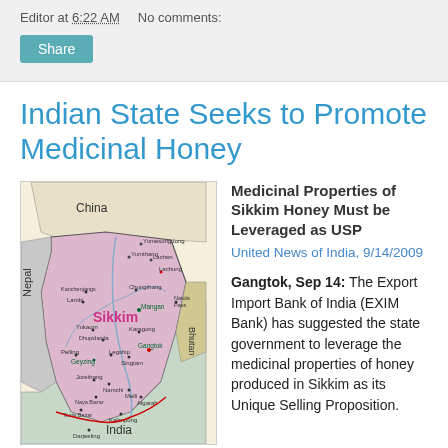Editor at 6:22 AM   No comments:
Share
Indian State Seeks to Promote Medicinal Honey
[Figure (map): Map of Sikkim state in India showing borders with China, Nepal, Bhutan, and India. Labels include cities/towns: Yumesongdong, Yumthang, Lachen, Lachung, Kanchenjangs, Lambi, Chungthang, Mangan, Natula Pass, Yukaom, Dhupidanda, Karagong, Pelling, Geyzing, Legship, Singtam, Gangtok, Jorethang, Namchi, Melli, Algarah, Kalimpong, Darjeeling, Naya Bazar, Testa Bazar. Bhutan border on right side.]
Medicinal Properties of Sikkim Honey Must be Leveraged as USP
United News of India, 9/14/2009
Gangtok, Sep 14: The Export Import Bank of India (EXIM Bank) has suggested the state government to leverage the medicinal properties of honey produced in Sikkim as its Unique Selling Proposition.